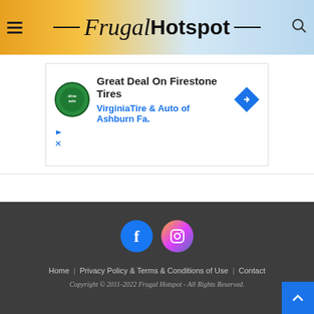Frugal Hotspot
[Figure (screenshot): Advertisement for Virginia Tire & Auto of Ashburn Fa. - Great Deal On Firestone Tires]
Home | Privacy Policy & Terms & Conditions of Use | Contact
Copyright © 2011-2022 Frugal Hotspot - All Rights Reserved.